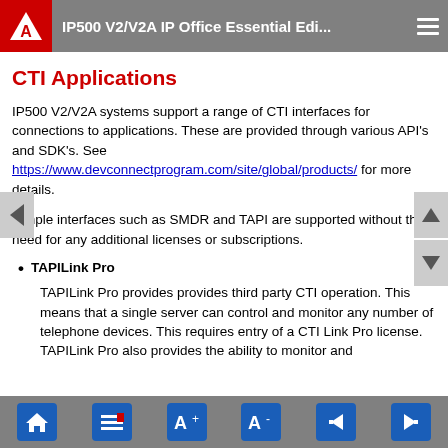IP500 V2/V2A IP Office Essential Edi...
CTI Applications
IP500 V2/V2A systems support a range of CTI interfaces for connections to applications. These are provided through various API's and SDK's. See https://www.devconnectprogram.com/site/global/products/ for more details.
Simple interfaces such as SMDR and TAPI are supported without the need for any additional licenses or subscriptions.
TAPILink Pro
TAPILink Pro provides provides third party CTI operation. This means that a single server can control and monitor any number of telephone devices. This requires entry of a CTI Link Pro license. TAPILink Pro also provides the ability to monitor and